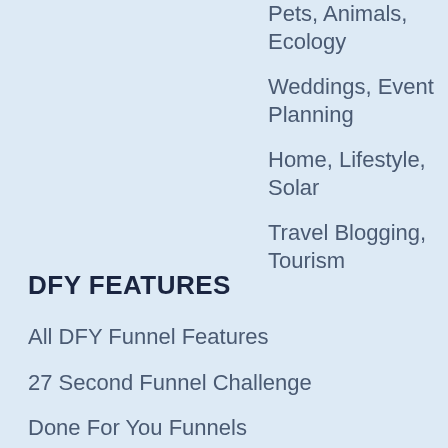Pets, Animals, Ecology
Weddings, Event Planning
Home, Lifestyle, Solar
Travel Blogging, Tourism
DFY FEATURES
All DFY Funnel Features
27 Second Funnel Challenge
Done For You Funnels
Extensive Collection